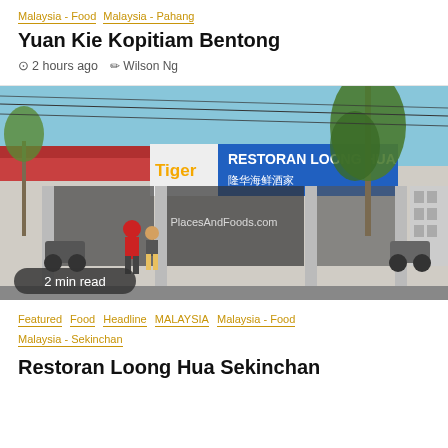Malaysia - Food  Malaysia - Pahang
Yuan Kie Kopitiam Bentong
2 hours ago  Wilson Ng
[Figure (photo): Exterior photo of Restoran Loong Hua (隆华海鲜酒家) with a blue Tiger Beer signage, red-roofed shophouse, people on sidewalk, motorcycles parked. Watermark: PlacesAndFoods.com. Badge: 2 min read]
Featured  Food  Headline  MALAYSIA  Malaysia - Food  Malaysia - Sekinchan
Restoran Loong Hua Sekinchan